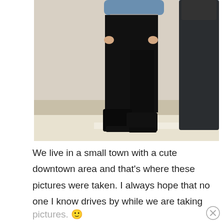[Figure (photo): A person wearing black skinny jeans, black ankle boots with a block heel, and a denim jacket, standing on steps near a black decorative street pole in an outdoor downtown area.]
We live in a small town with a cute downtown area and that's where these pictures were taken. I always hope that no one I know drives by while we are taking pictures. 🙂